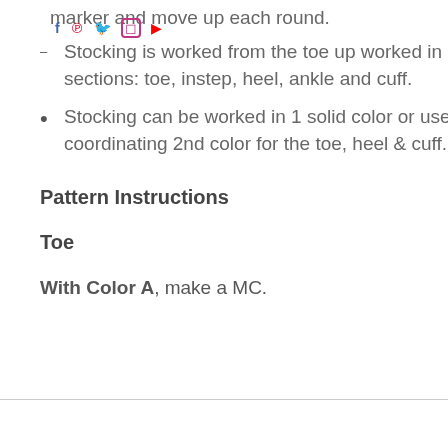marker and move up each round.
Stocking is worked from the toe up worked in sections: toe, instep, heel, ankle and cuff.
Stocking can be worked in 1 solid color or use a coordinating 2nd color for the toe, heel & cuff.
Pattern Instructions
Toe
With Color A, make a MC.